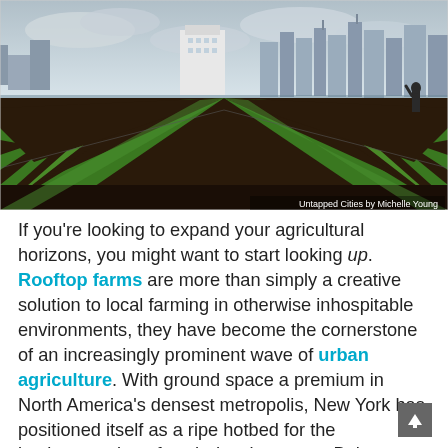[Figure (photo): Aerial view of a rooftop farm with rows of green crops, a city skyline with skyscrapers visible in the background, and a cloudy sky. A person stands at the far right. Caption reads: Untapped Cities by Michelle Young]
Untapped Cities by Michelle Young
If you're looking to expand your agricultural horizons, you might want to start looking up. Rooftop farms are more than simply a creative solution to local farming in otherwise inhospitable environments, they have become the cornerstone of an increasingly prominent wave of urban agriculture. With ground space a premium in North America's densest metropolis, New York has positioned itself as a ripe hotbed for the implementation of such developments. Below, we showcase seven of the more notable institutions in the area, with several more to